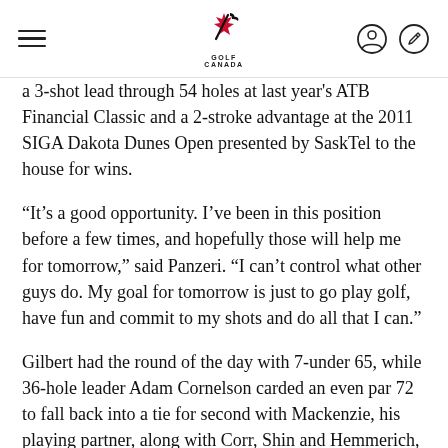Golf Canada
a 3-shot lead through 54 holes at last year's ATB Financial Classic and a 2-stroke advantage at the 2011 SIGA Dakota Dunes Open presented by SaskTel to the house for wins.
“It’s a good opportunity. I’ve been in this position before a few times, and hopefully those will help me for tomorrow,” said Panzeri. “I can’t control what other guys do. My goal for tomorrow is just to go play golf, have fun and commit to my shots and do all that I can.”
Gilbert had the round of the day with 7-under 65, while 36-hole leader Adam Cornelson carded an even par 72 to fall back into a tie for second with Mackenzie, his playing partner, along with Corr, Shin and Hemmerich, who all carded 68s. Joining the group was Jay Vandevoter after